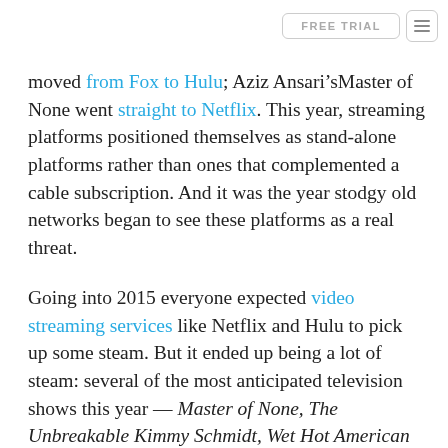FREE TRIAL [menu]
moved from Fox to Hulu; Aziz Ansari’sMaster of None went straight to Netflix. This year, streaming platforms positioned themselves as stand-alone platforms rather than ones that complemented a cable subscription. And it was the year stodgy old networks began to see these platforms as a real threat.
Going into 2015 everyone expected video streaming services like Netflix and Hulu to pick up some steam. But it ended up being a lot of steam: several of the most anticipated television shows this year — Master of None, The Unbreakable Kimmy Schmidt, Wet Hot American Summer: First Day of Camp — never even touched network television. This was the year